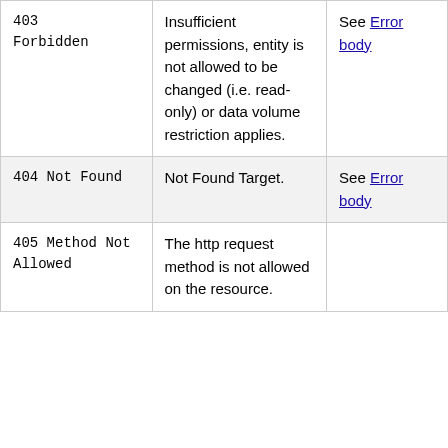| HTTP Code | Description | More Info |
| --- | --- | --- |
| 403 Forbidden | Insufficient permissions, entity is not allowed to be changed (i.e. read-only) or data volume restriction applies. | See Error body |
| 404 Not Found | Not Found Target. | See Error body |
| 405 Method Not Allowed | The http request method is not allowed on the resource. |  |